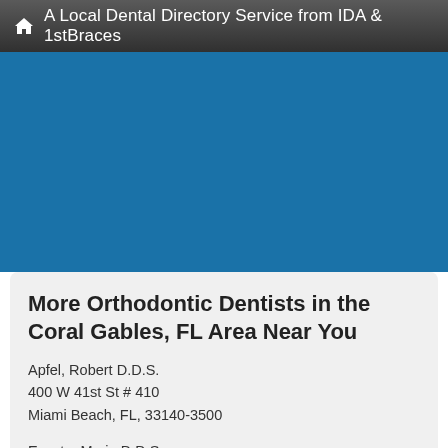A Local Dental Directory Service from IDA & 1stBraces
[Figure (other): Blue banner/advertisement area]
More Orthodontic Dentists in the Coral Gables, FL Area Near You
Apfel, Robert D.D.S.
400 W 41st St # 410
Miami Beach, FL, 33140-3500
Escoto, Maria D.D.S.
2895 Collins Ave
Miami Beach, FL, 33140-4407